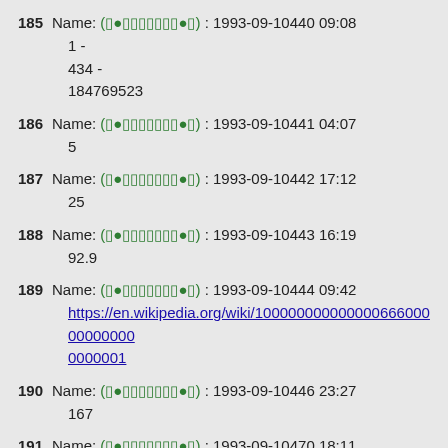185 Name: (●●■■■■■■■●■) : 1993-09-10440 09:08
1 -
434 -
184769523
186 Name: (●●■■■■■■■●■) : 1993-09-10441 04:07
5
187 Name: (●●■■■■■■■●■) : 1993-09-10442 17:12
25
188 Name: (●●■■■■■■■●■) : 1993-09-10443 16:19
92.9
189 Name: (●●■■■■■■■●■) : 1993-09-10444 09:42
https://en.wikipedia.org/wiki/10000000000000066600000000000001
190 Name: (●●■■■■■■■●■) : 1993-09-10446 23:27
167
191 Name: (●●■■■■■■■●■) : 1993-09-10470 18:11